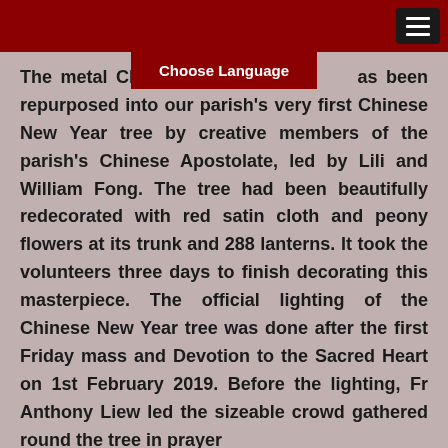The metal Christmas tree installed has been repurposed into our parish's very first Chinese New Year tree by creative members of the parish's Chinese Apostolate, led by Lili and William Fong. The tree had been beautifully redecorated with red satin cloth and peony flowers at its trunk and 288 lanterns. It took the volunteers three days to finish decorating this masterpiece. The official lighting of the Chinese New Year tree was done after the first Friday mass and Devotion to the Sacred Heart on 1st February 2019. Before the lighting, Fr Anthony Liew led the sizeable crowd gathered round the tree in prayer and the singing of well-known carols had started